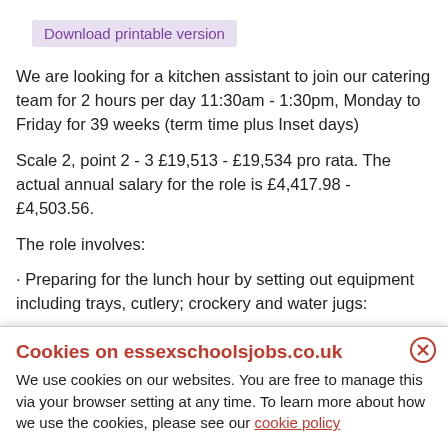Download printable version
We are looking for a kitchen assistant to join our catering team for 2 hours per day 11:30am - 1:30pm, Monday to Friday for 39 weeks (term time plus Inset days)
Scale 2, point 2 - 3 £19,513 - £19,534 pro rata. The actual annual salary for the role is £4,417.98 - £4,503.56.
The role involves:
· Preparing for the lunch hour by setting out equipment including trays, cutlery; crockery and water jugs;
Cookies on essexschoolsjobs.co.uk
We use cookies on our websites. You are free to manage this via your browser setting at any time. To learn more about how we use the cookies, please see our cookie policy